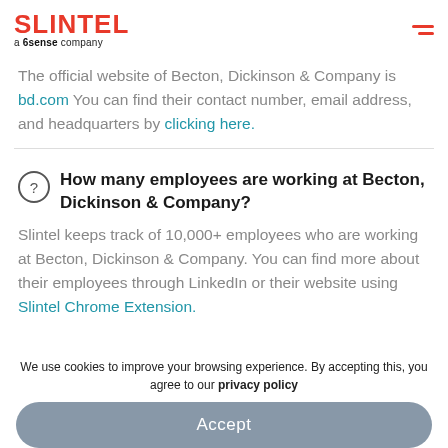SLINTEL a 6sense company
The official website of Becton, Dickinson & Company is bd.com You can find their contact number, email address, and headquarters by clicking here.
How many employees are working at Becton, Dickinson & Company?
Slintel keeps track of 10,000+ employees who are working at Becton, Dickinson & Company. You can find more about their employees through LinkedIn or their website using Slintel Chrome Extension.
We use cookies to improve your browsing experience. By accepting this, you agree to our privacy policy
Accept